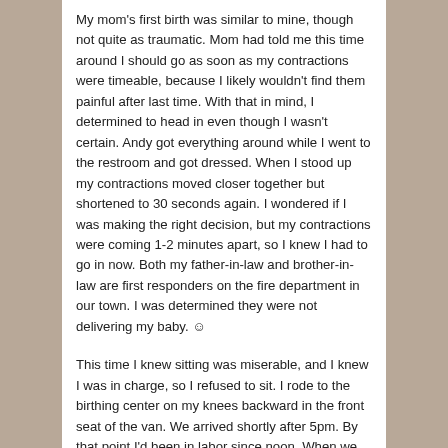My mom's first birth was similar to mine, though not quite as traumatic. Mom had told me this time around I should go as soon as my contractions were timeable, because I likely wouldn't find them painful after last time. With that in mind, I determined to head in even though I wasn't certain. Andy got everything around while I went to the restroom and got dressed. When I stood up my contractions moved closer together but shortened to 30 seconds again. I wondered if I was making the right decision, but my contractions were coming 1-2 minutes apart, so I knew I had to go in now. Both my father-in-law and brother-in-law are first responders on the fire department in our town. I was determined they were not delivering my baby. ☺
This time I knew sitting was miserable, and I knew I was in charge, so I refused to sit. I rode to the birthing center on my knees backward in the front seat of the van. We arrived shortly after 5pm. By that point I'd been in labor since noon. When we walked in I was still feeling pretty good. Definitely serious, definitely deep in labor, but not in